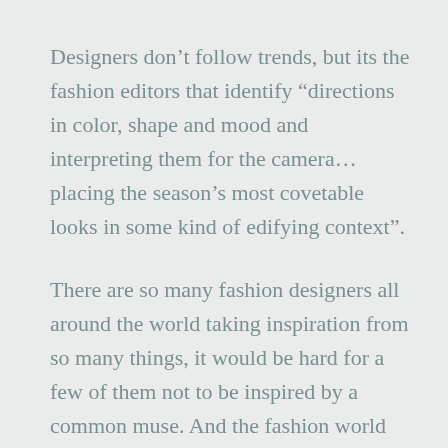Designers don’t follow trends, but its the fashion editors that identify “directions in color, shape and mood and interpreting them for the camera…placing the season’s most covetable looks in some kind of edifying context”.
There are so many fashion designers all around the world taking inspiration from so many things, it would be hard for a few of them not to be inspired by a common muse. And the fashion world being as it is, with the media making it so accessible and shareable all around the world, you can draw parallels